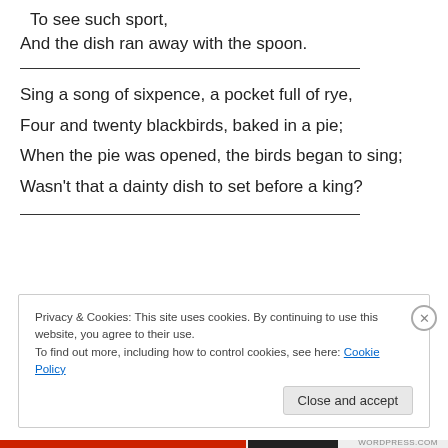To see such sport,
And the dish ran away with the spoon.
Sing a song of sixpence, a pocket full of rye,
Four and twenty blackbirds, baked in a pie;
When the pie was opened, the birds began to sing;
Wasn't that a dainty dish to set before a king?
Privacy & Cookies: This site uses cookies. By continuing to use this website, you agree to their use.
To find out more, including how to control cookies, see here: Cookie Policy
Close and accept